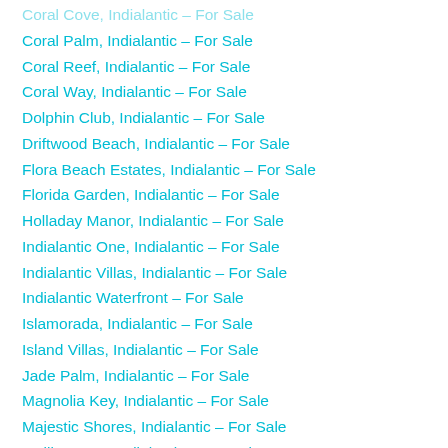Coral Cove, Indialantic – For Sale
Coral Palm, Indialantic – For Sale
Coral Reef, Indialantic – For Sale
Coral Way, Indialantic – For Sale
Dolphin Club, Indialantic – For Sale
Driftwood Beach, Indialantic – For Sale
Flora Beach Estates, Indialantic – For Sale
Florida Garden, Indialantic – For Sale
Holladay Manor, Indialantic – For Sale
Indialantic One, Indialantic – For Sale
Indialantic Villas, Indialantic – For Sale
Indialantic Waterfront – For Sale
Islamorada, Indialantic – For Sale
Island Villas, Indialantic – For Sale
Jade Palm, Indialantic – For Sale
Magnolia Key, Indialantic – For Sale
Majestic Shores, Indialantic – For Sale
Malibu Lane, Indialantic – For Sale
Mosswood, Indialantic – For Sale
Ocean Crest, Indialantic – For Sale
Ocean Jewel, Indialantic – For Sale
Ocean Place Beach, Indialantic – For Sale